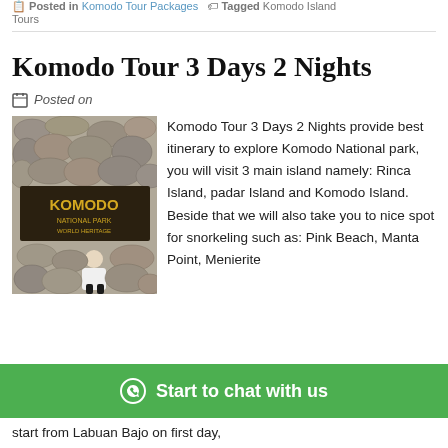Posted in Komodo Tour Packages · Tagged Komodo Island Tours
Komodo Tour 3 Days 2 Nights
Posted on
[Figure (photo): Photo of a person posing in front of a stone wall sign reading KOMODO NATIONAL PARK WORLD HERITAGE SITE]
Komodo Tour 3 Days 2 Nights provide best itinerary to explore Komodo National park, you will visit 3 main island namely: Rinca Island, padar Island and Komodo Island. Beside that we will also take you to nice spot for snorkeling such as: Pink Beach, Manta Point, Menierite start from Labuan Bajo on first day,